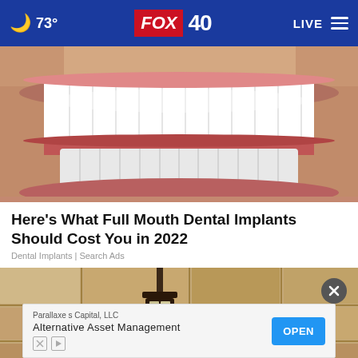🌙 73° FOX 40 LIVE
[Figure (photo): Close-up photo of a person's smile showing full mouth dental implants — white teeth top and bottom rows visible against skin and gum tissue]
Here's What Full Mouth Dental Implants Should Cost You in 2022
Dental Implants | Search Ads
[Figure (photo): Photo of a stone wall with a dark metal wall-mounted lantern fixture]
Parallaxe s Capital, LLC
Alternative Asset Management
OPEN